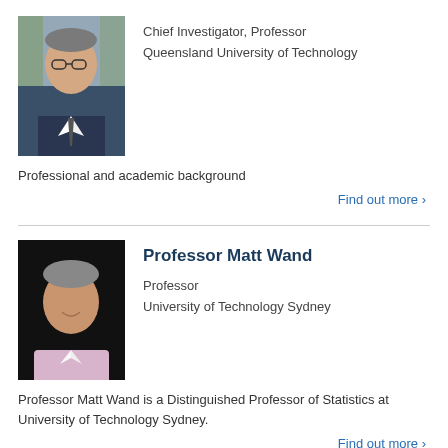[Figure (photo): Photo of a man with glasses in a suit, outdoors background]
Chief Investigator, Professor
Queensland University of Technology
Professional and academic background
Find out more ›
[Figure (photo): Photo of Professor Matt Wand, smiling man in light pink shirt, black background]
Professor Matt Wand
Professor
University of Technology Sydney
Professor Matt Wand is a Distinguished Professor of Statistics at University of Technology Sydney.
Find out more ›
[Figure (photo): Partial photo of a third person, partially visible at bottom of page]